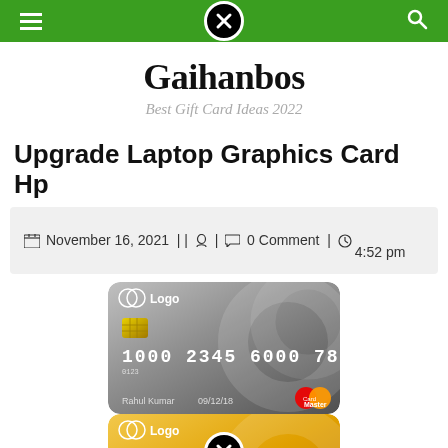Gaihanbos navigation bar
Gaihanbos
Best Gift Card Ideas 2022
Upgrade Laptop Graphics Card Hp
November 16, 2021 | | • | 0 Comment | 4:52 pm
[Figure (photo): Two credit cards - one gray MasterCard and one gold card, both showing number 1000 2345 6000 7890, name Rahul Kumar, date 09/12/18, with Logo branding]